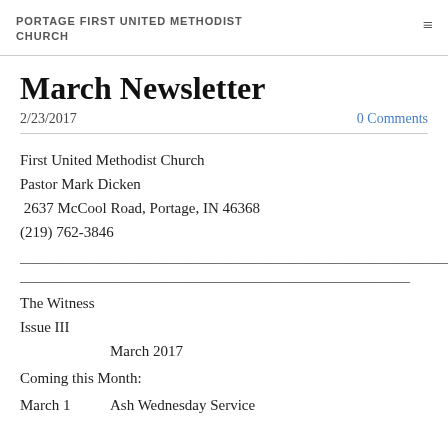PORTAGE FIRST UNITED METHODIST CHURCH
March Newsletter
2/23/2017
0 Comments
First United Methodist Church
Pastor Mark Dicken
 2637 McCool Road, Portage, IN 46368
(219) 762-3846
The Witness
Issue III
                March 2017
Coming this Month:
March 1          Ash Wednesday Service